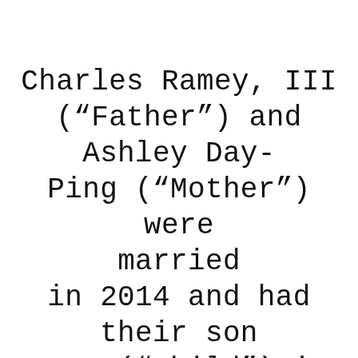Charles Ramey, III (“Father”) and Ashley Day-Ping (“Mother”) were married in 2014 and had their son P.R. (“Child”) in November of that year. In 2016, Mother petitioned for dissolution of the marriage, and as part of a settlement